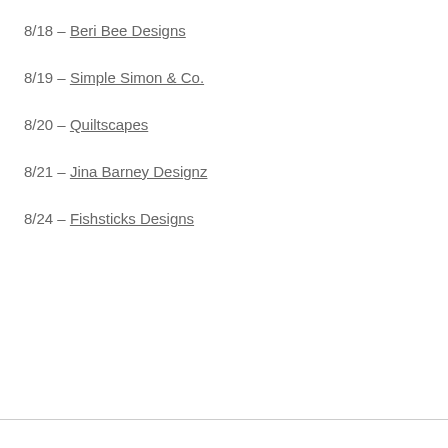8/18 – Beri Bee Designs
8/19 – Simple Simon & Co.
8/20 – Quiltscapes
8/21 – Jina Barney Designz
8/24 – Fishsticks Designs